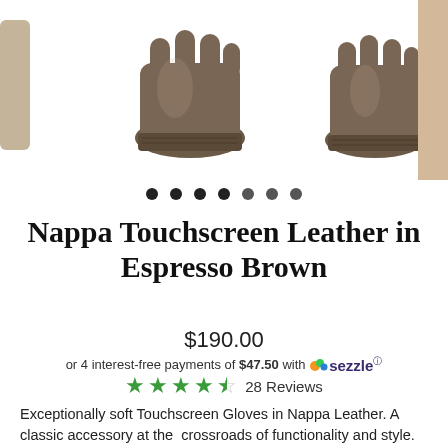[Figure (photo): Product photo showing brown leather gloves from multiple angles against white background]
Nappa Touchscreen Leather in Espresso Brown
$190.00
or 4 interest-free payments of $47.50 with Sezzle
4.5 stars — 28 Reviews
Exceptionally soft Touchscreen Gloves in Nappa Leather. A classic accessory at the  crossroads of functionality and style.
Full Palm Touchscreen
Tonal Stitching
Double Elastic at Wrist